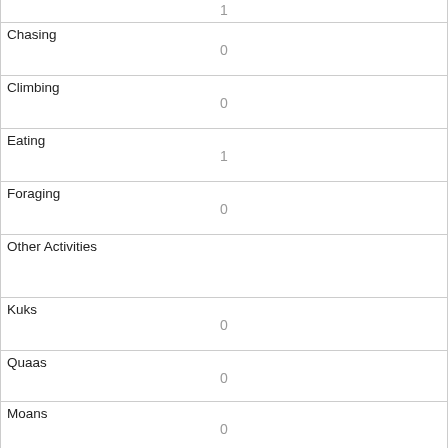| (top partial row) | 1 |
| Chasing | 0 |
| Climbing | 0 |
| Eating | 1 |
| Foraging | 0 |
| Other Activities |  |
| Kuks | 0 |
| Quaas | 0 |
| Moans | 0 |
| Tail flags | 0 |
| Tail twitches | 0 |